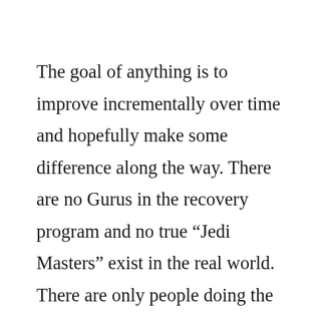The goal of anything is to improve incrementally over time and hopefully make some difference along the way. There are no Gurus in the recovery program and no true “Jedi Masters” exist in the real world. There are only people doing the best they can for themselves and those close to them. We all want to live a good and meaningful life. We all want to make some positive difference in the world. True heroes are normal, everyday people getting on with life and overcoming obstacles along the way. They are not fictional characters